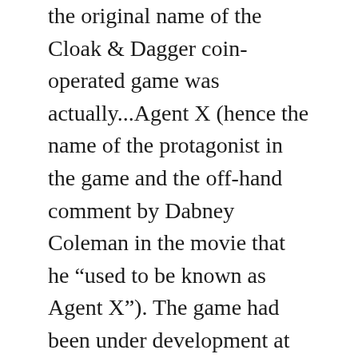the original name of the Cloak & Dagger coin-operated game was actually...Agent X (hence the name of the protagonist in the game and the off-hand comment by Dabney Coleman in the movie that he “used to be known as Agent X”). The game had been under development at Atari as “Agent X” for quite a while, and was nearly completed. The movie studio (can’t remember which one off-hand, but I have the Laserdisc) had the movie under development as Cloak & Dagger. The game cartridge that was in